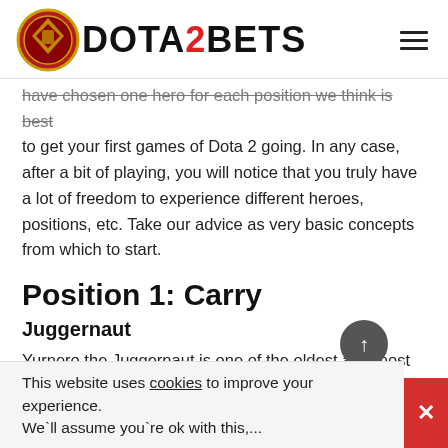DOTA2BETS
have chosen one hero for each position we think is best to get your first games of Dota 2 going. In any case, after a bit of playing, you will notice that you truly have a lot of freedom to experience different heroes, positions, etc. Take our advice as very basic concepts from which to start.
Position 1: Carry
Juggernaut
Yurnero the Juggernaut is one of the oldest and most played carries at all levels since the very beginning
This website uses cookies to improve your experience. We'll assume you're ok with this,...